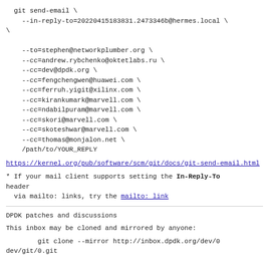git send-email \
   --in-reply-to=20220415183831.2473346b@hermes.local \

   --to=stephen@networkplumber.org \
   --cc=andrew.rybchenko@oktetlabs.ru \
   --cc=dev@dpdk.org \
   --cc=fengchengwen@huawei.com \
   --cc=ferruh.yigit@xilinx.com \
   --cc=kirankumark@marvell.com \
   --cc=ndabilpuram@marvell.com \
   --cc=skori@marvell.com \
   --cc=skoteshwar@marvell.com \
   --cc=thomas@monjalon.net \
   /path/to/YOUR_REPLY
https://kernel.org/pub/software/scm/git/docs/git-send-email.html
* If your mail client supports setting the In-Reply-To header
  via mailto: links, try the mailto: link
DPDK patches and discussions
This inbox may be cloned and mirrored by anyone:
git clone --mirror http://inbox.dpdk.org/dev/0
dev/git/0.git